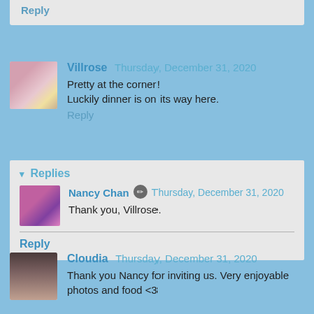Reply
Villrose Thursday, December 31, 2020
Pretty at the corner!
Luckily dinner is on its way here.
Reply
Replies
Nancy Chan Thursday, December 31, 2020
Thank you, Villrose.
Reply
Cloudia Thursday, December 31, 2020
Thank you Nancy for inviting us. Very enjoyable photos and food <3